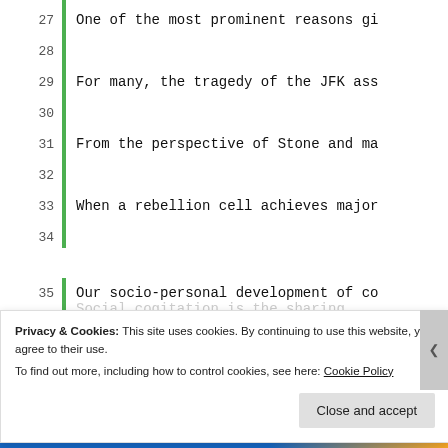27  One of the most prominent reasons gi
29  For many, the tragedy of the JFK ass
31  From the perspective of Stone and ma
33  When a rebellion cell achieves major
35  Our socio-personal development of co
37  As we gradually become aware of anot
39  In Cognitive Development by professo
41  The next stage of social cognition i
43  Social cogitation is the sharing of
Social cogitation is the sharing of social cognition and... (partial)
Privacy & Cookies: This site uses cookies. By continuing to use this website, you agree to their use. To find out more, including how to control cookies, see here: Cookie Policy
Close and accept